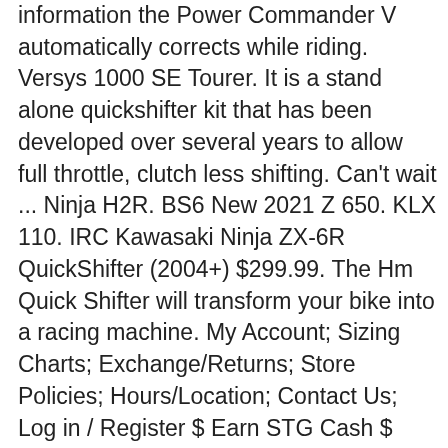information the Power Commander V automatically corrects while riding. Versys 1000 SE Tourer. It is a stand alone quickshifter kit that has been developed over several years to allow full throttle, clutch less shifting. Can't wait ... Ninja H2R. BS6 New 2021 Z 650. KLX 110. IRC Kawasaki Ninja ZX-6R QuickShifter (2004+) $299.99. The Hm Quick Shifter will transform your bike into a racing machine. My Account; Sizing Charts; Exchange/Returns; Store Policies; Hours/Location; Contact Us; Log in / Register $ Earn STG Cash $ Cart Toggle menu. Suter; EVR; Taylor Made Racing; YEC; ... Ninja H2. Ebrahim R. Kawasaki 2011 ZX-10R "I went with the Healtech QSE because I liked the variability advertised. Key Specifications. V. Versys 1000. That's why we have put together the quick ... Ninja H2. BS6 Versys 1000. Z1000R. Ninja ZX-14R. Add To Cart. Vulcan S. BS6 New 2021 Vulcan S. KX 100. IRC Yamaha R1 (04-14) / R6 (2006+) Quick-Shifter. Retains all of the standard Power Commander V fuel control features; Allows +/- 20 degrees of timing adjustment; Map Switch Input – change maps on the fly; Adjusting is according by ...